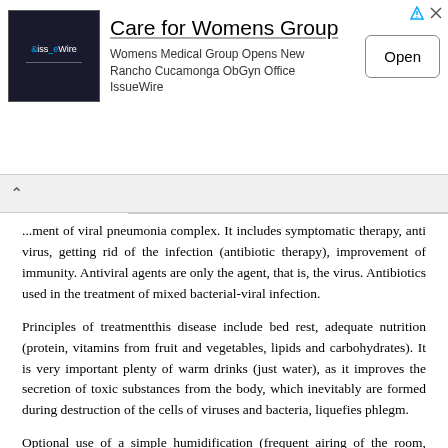[Figure (screenshot): Advertisement banner for 'Care for Womens Group' - Womens Medical Group Opens New Rancho Cucamonga ObGyn Office, IssueWire, with Open button]
...ment of viral pneumonia complex. It includes symptomatic therapy, anti virus, getting rid of the infection (antibiotic therapy), improvement of immunity. Antiviral agents are only the agent, that is, the virus. Antibiotics used in the treatment of mixed bacterial-viral infection.
Principles of treatmentthis disease include bed rest, adequate nutrition (protein, vitamins from fruit and vegetables, lipids and carbohydrates). It is very important plenty of warm drinks (just water), as it improves the secretion of toxic substances from the body, which inevitably are formed during destruction of the cells of viruses and bacteria, liquefies phlegm.
Optional use of a simple humidification (frequent airing of the room, which is very important if the house is sick. This helps not only the patient, but also protects others from infection, as in dry air the reproduction of viruses and bacteria occurs with increased speed.
In the first 2 days (48 hours) after the disease specialists recommend receiving antiviral drugs, for example, Ingavirin...